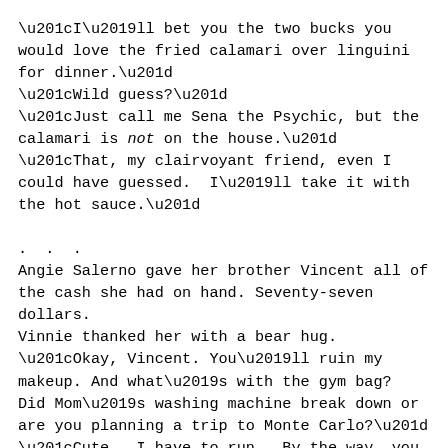“I’ll bet you the two bucks you would love the fried calamari over linguini for dinner.”
“Wild guess?”
“Just call me Sena the Psychic, but the calamari is not on the house.”
“That, my clairvoyant friend, even I could have guessed.  I’ll take it with the hot sauce.”

.  .  .
Angie Salerno gave her brother Vincent all of the cash she had on hand. Seventy-seven dollars.
Vinnie thanked her with a bear hug.
“Okay, Vincent. You’ll ruin my makeup. And what’s with the gym bag?  Did Mom’s washing machine break down or are you planning a trip to Monte Carlo?”
“Cute.  I have to run.  By the way, you do look great.”